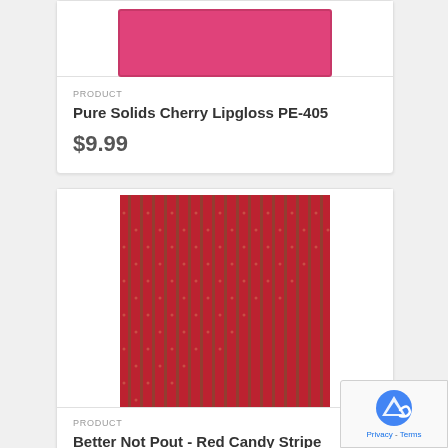[Figure (photo): Pink solid color fabric swatch for Pure Solids Cherry Lipgloss PE-405]
PRODUCT
Pure Solids Cherry Lipgloss PE-405
$9.99
[Figure (photo): Red candy stripe fabric pattern with vertical red and olive/dark stripes and small dot accents for Better Not Pout - Red Candy Stripe]
PRODUCT
Better Not Pout - Red Candy Stripe